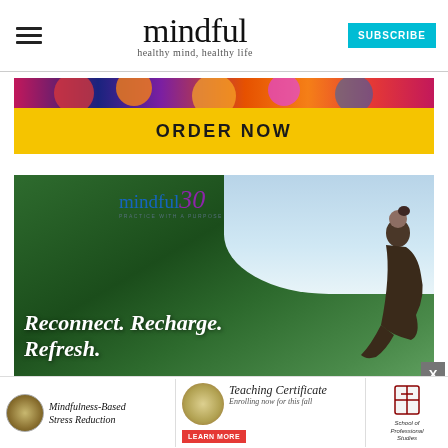mindful — healthy mind, healthy life
[Figure (infographic): ORDER NOW banner advertisement with colorful floral pattern top strip and yellow background]
[Figure (infographic): Mindful30 — Practice with a Purpose. Reconnect. Recharge. Refresh. 30-DAY MEDITATION CHALLENGE. Woman sitting on rock with mountain/forest background.]
[Figure (infographic): Bottom banner: Mindfulness-Based Stress Reduction ad, Teaching Certificate ad (Enrolling now for this fall), LEARN MORE button, School of Professional Studies logo]